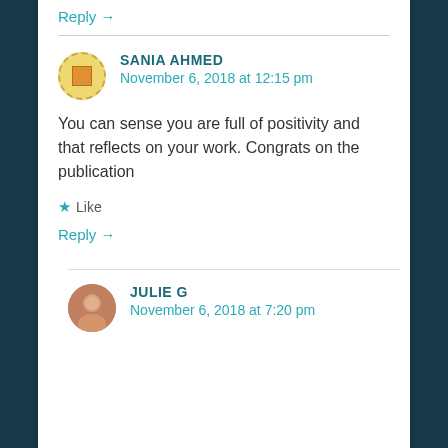Reply →
SANIA AHMED
November 6, 2018 at 12:15 pm
You can sense you are full of positivity and that reflects on your work. Congrats on the publication
★ Like
Reply →
JULIE G
November 6, 2018 at 7:20 pm